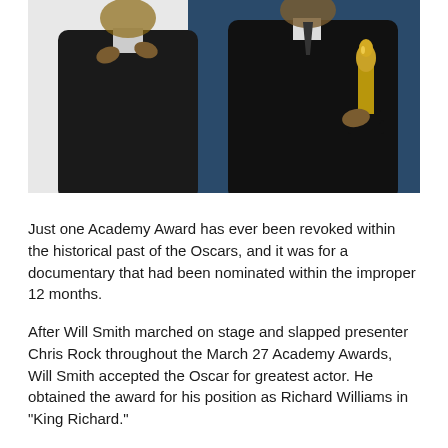[Figure (photo): Two men in dark formal suits, one holding a gold Oscar statuette, photographed against a dark teal and white background.]
Just one Academy Award has ever been revoked within the historical past of the Oscars, and it was for a documentary that had been nominated within the improper 12 months.
After Will Smith marched on stage and slapped presenter Chris Rock throughout the March 27 Academy Awards, Will Smith accepted the Oscar for greatest actor. He obtained the award for his position as Richard Williams in "King Richard."